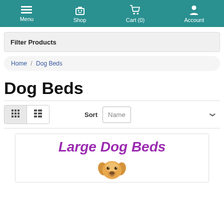Menu | Shop | Cart (0) | Account
Filter Products
Home / Dog Beds
Dog Beds
Sort  Name
[Figure (illustration): Product card showing 'Large Dog Beds' text in purple with a golden retriever dog face image below it]